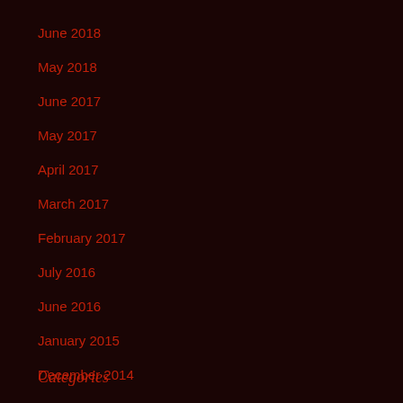June 2018
May 2018
June 2017
May 2017
April 2017
March 2017
February 2017
July 2016
June 2016
January 2015
December 2014
Categories